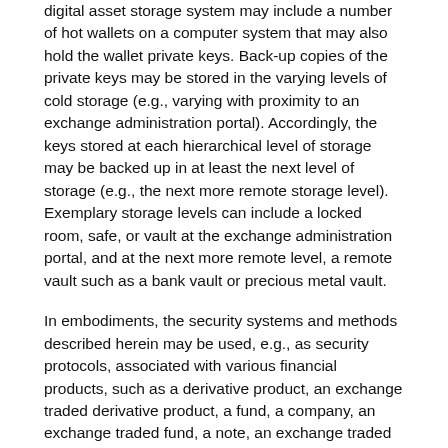digital asset storage system may include a number of hot wallets on a computer system that may also hold the wallet private keys. Back-up copies of the private keys may be stored in the varying levels of cold storage (e.g., varying with proximity to an exchange administration portal). Accordingly, the keys stored at each hierarchical level of storage may be backed up in at least the next level of storage (e.g., the next more remote storage level). Exemplary storage levels can include a locked room, safe, or vault at the exchange administration portal, and at the next more remote level, a remote vault such as a bank vault or precious metal vault.
In embodiments, the security systems and methods described herein may be used, e.g., as security protocols, associated with various financial products, such as a derivative product, an exchange traded derivative product, a fund, a company, an exchange traded fund, a note, an exchange traded note, a security, a debt instrument, a convertible security, an instrument comprising a basket of assets including one or more digital math-based assets, and/or an over-the-counter product.
Cold Storage